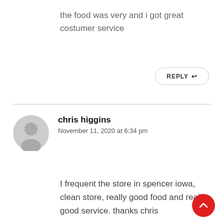the food was very and i got great costumer service
REPLY
chris higgins
November 11, 2020 at 6:34 pm
I frequent the store in spencer iowa, clean store, really good food and really good service. thanks chris